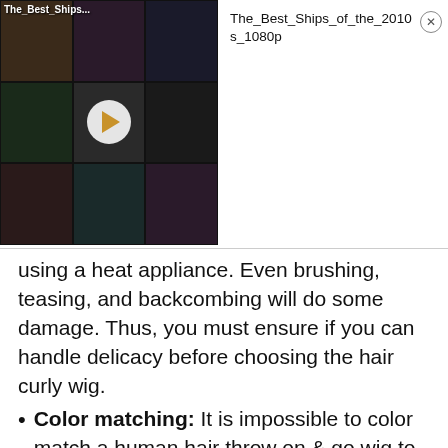[Figure (screenshot): A video thumbnail grid showing movie/TV couples, with a play button overlay. Title shown: 'The_Best_Ships...' on thumbnail and 'The_Best_Ships_of_the_2010s_1080p' in the info panel with a close button.]
using a heat appliance. Even brushing, teasing, and backcombing will do some damage. Thus, you must ensure if you can handle delicacy before choosing the hair curly wig.
Color matching: It is impossible to color match a human hair throw on & go wig to get the same color. Sometimes, color matching does not happen even while purchasing the backup of a wig. Curly wigs contrarily are artificially processed and stand a better chance at color